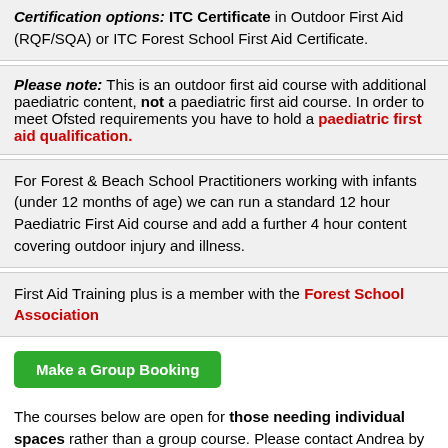Certification options: ITC Certificate in Outdoor First Aid (RQF/SQA) or ITC Forest School First Aid Certificate.
Please note: This is an outdoor first aid course with additional paediatric content, not a paediatric first aid course. In order to meet Ofsted requirements you have to hold a paediatric first aid qualification.
For Forest & Beach School Practitioners working with infants (under 12 months of age) we can run a standard 12 hour Paediatric First Aid course and add a further 4 hour content covering outdoor injury and illness.
First Aid Training plus is a member with the Forest School Association
Make a Group Booking
The courses below are open for those needing individual spaces rather than a group course. Please contact Andrea by phone 07818 258 799 or email to enquire about availability and cost if not stated - thank you.